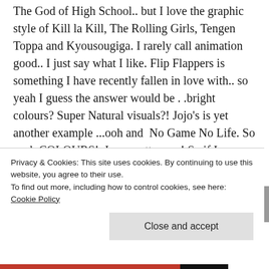The God of High School.. but I love the graphic style of Kill la Kill, The Rolling Girls, Tengen Toppa and Kyousougiga. I rarely call animation good.. I just say what I like. Flip Flappers is something I have recently fallen in love with.. so yeah I guess the answer would be . .bright colours? Super Natural visuals?! Jojo's is yet another example ...ooh and  No Game No Life. So yeah COLOURS!  I am pretty sure! So if I ever say I like the visuals I say I like the colours. The brain is such an amazing tool that can fill in blanks so I for one seek out the impossible rather than that which moves smooth! I like big
Privacy & Cookies: This site uses cookies. By continuing to use this website, you agree to their use.
To find out more, including how to control cookies, see here: Cookie Policy
Close and accept